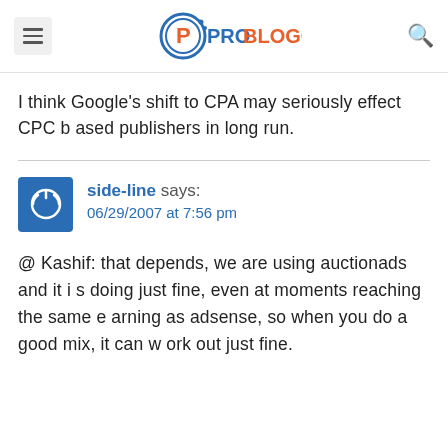PROBLOGGER
I think Google's shift to CPA may seriously effect CPC based publishers in long run.
side-line says: 06/29/2007 at 7:56 pm
@ Kashif: that depends, we are using auctionads and it is doing just fine, even at moments reaching the same earning as adsense, so when you do a good mix, it can work out just fine.